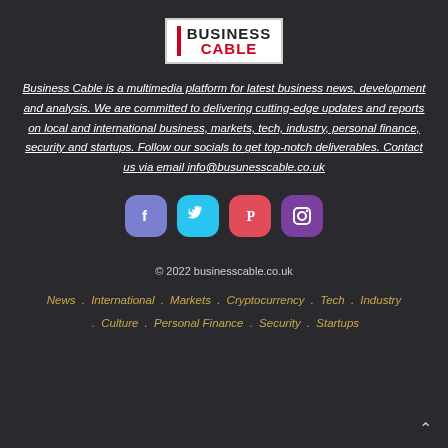[Figure (logo): Business Cable logo — white box with red left border, BUSINESS in black bold, CABLE in red bold]
Business Cable is a multimedia platform for latest business news, development and analysis. We are committed to delivering cutting-edge updates and reports on local and international business, markets, tech, industry, personal finance, security and startups. Follow our socials to get top-notch deliverables. Contact us via email info@busunesscable.co.uk
[Figure (infographic): Four social media icon buttons: Facebook (purple-blue), Twitter (cyan), Pinterest (red), Instagram (purple)]
© 2022 businesscable.co.uk
News . International . Markets . Cryptocurrency . Tech . Industry . Culture . Personal Finance . Security . Startups